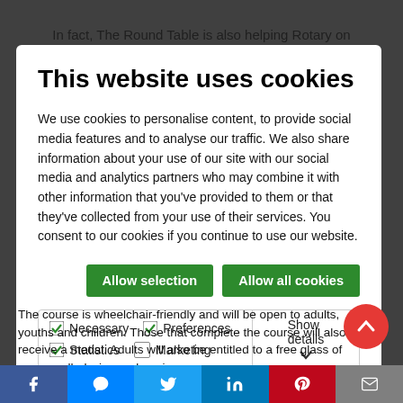In fact, The Round Table is also helping Rotary on
This website uses cookies
We use cookies to personalise content, to provide social media features and to analyse our traffic. We also share information about your use of our site with our social media and analytics partners who may combine it with other information that you've provided to them or that they've collected from your use of their services. You consent to our cookies if you continue to use our website.
Allow selection | Allow all cookies
Necessary  Preferences  Statistics  Marketing  Show details
The course is wheelchair-friendly and will be open to adults, youths and children. Those that complete the course will also receive a medal. Adults will also be entitled to a free glass of warm mulled wine and a mince